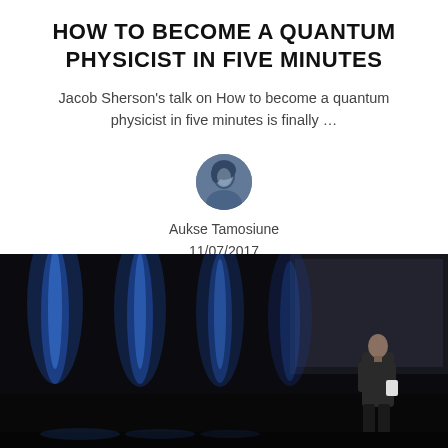HOW TO BECOME A QUANTUM PHYSICIST IN FIVE MINUTES
Jacob Sherson’s talk on How to become a quantum physicist in five minutes is finally …
[Figure (photo): Circular avatar photo of Aukse Tamosiune, a woman with dark hair, grayscale/blue toned]
Aukse Tamosiune
11/07/2017
[Figure (photo): A person standing on a dark stage with blue curtain lights behind them, presenting at a conference or talk]